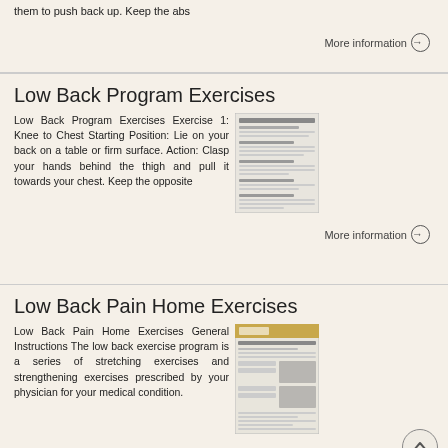them to push back up. Keep the abs
More information →
Low Back Program Exercises
Low Back Program Exercises Exercise 1: Knee to Chest Starting Position: Lie on your back on a table or firm surface. Action: Clasp your hands behind the thigh and pull it towards your chest. Keep the opposite
[Figure (screenshot): Thumbnail of Low Back Program Exercises document]
More information →
Low Back Pain Home Exercises
Low Back Pain Home Exercises General Instructions The low back exercise program is a series of stretching exercises and strengthening exercises prescribed by your physician for your medical condition.
[Figure (screenshot): Thumbnail of Low Back Pain Home Exercises document]